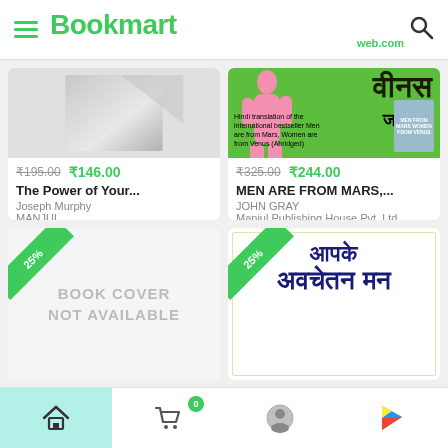Bookmart web.com
[Figure (screenshot): Book product card 1 - grey placeholder cover, The Power of Your... by Joseph Murphy, MANJUL. Price: ₹195.00 original, ₹146.00 discounted.]
[Figure (screenshot): Book product card 2 - Men Are From Mars Women Are From Venus Hindi edition cover (green background), MEN ARE FROM MARS,... by JOHN GRAY, Manjul Publishing House Pvt. Ltd. Price: ₹325.00 original, ₹244.00 discounted.]
[Figure (screenshot): Book product card 3 - BOOK COVER NOT AVAILABLE placeholder with 25% badge.]
[Figure (screenshot): Book product card 4 - Hindi book Aapke Avchetan Man cover with 25% badge.]
Home | Cart (0) | Account | Google Play